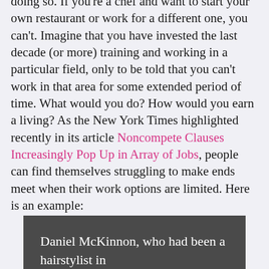doing so. If you're a chef and want to start your own restaurant or work for a different one, you can't. Imagine that you have invested the last decade (or more) training and working in a particular field, only to be told that you can't work in that area for some extended period of time. What would you do? How would you earn a living? As the New York Times highlighted recently in its article Noncompete Clauses Increasingly Pop Up in Array of Jobs, people can find themselves struggling to make ends meet when their work options are limited. Here is an example:
Daniel McKinnon, who had been a hairstylist in